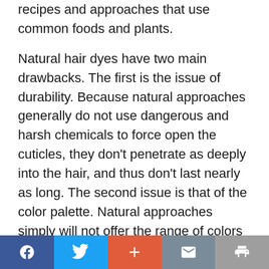recipes and approaches that use common foods and plants.
Natural hair dyes have two main drawbacks. The first is the issue of durability. Because natural approaches generally do not use dangerous and harsh chemicals to force open the cuticles, they don't penetrate as deeply into the hair, and thus don't last nearly as long. The second issue is that of the color palette. Natural approaches simply will not offer the range of colors one can get with modern hair dyes. You aren't going to get a bubble gum pink or sonic the hedgehog blue
Share bar: Facebook | Twitter | Plus | Mail | Print